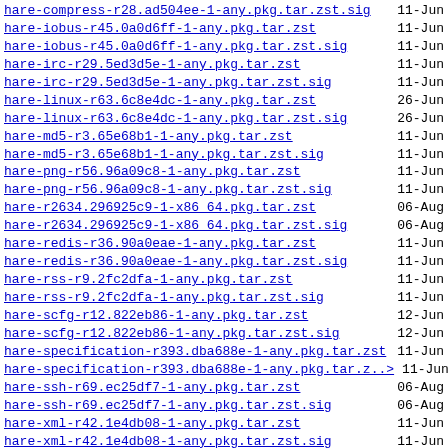hare-compress-r28.ad504ee-1-any.pkg.tar.zst.sig  11-Jun
hare-iobus-r45.0a0d6ff-1-any.pkg.tar.zst  11-Jun
hare-iobus-r45.0a0d6ff-1-any.pkg.tar.zst.sig  11-Jun
hare-irc-r29.5ed3d5e-1-any.pkg.tar.zst  11-Jun
hare-irc-r29.5ed3d5e-1-any.pkg.tar.zst.sig  11-Jun
hare-linux-r63.6c8e4dc-1-any.pkg.tar.zst  26-Jun
hare-linux-r63.6c8e4dc-1-any.pkg.tar.zst.sig  26-Jun
hare-md5-r3.65e68b1-1-any.pkg.tar.zst  11-Jun
hare-md5-r3.65e68b1-1-any.pkg.tar.zst.sig  11-Jun
hare-png-r56.96a09c8-1-any.pkg.tar.zst  11-Jun
hare-png-r56.96a09c8-1-any.pkg.tar.zst.sig  11-Jun
hare-r2634.296925c9-1-x86_64.pkg.tar.zst  06-Aug
hare-r2634.296925c9-1-x86_64.pkg.tar.zst.sig  06-Aug
hare-redis-r36.90a0eae-1-any.pkg.tar.zst  11-Jun
hare-redis-r36.90a0eae-1-any.pkg.tar.zst.sig  11-Jun
hare-rss-r9.2fc2dfa-1-any.pkg.tar.zst  11-Jun
hare-rss-r9.2fc2dfa-1-any.pkg.tar.zst.sig  11-Jun
hare-scfg-r12.822eb86-1-any.pkg.tar.zst  12-Jun
hare-scfg-r12.822eb86-1-any.pkg.tar.zst.sig  12-Jun
hare-specification-r393.dba688e-1-any.pkg.tar.zst  11-Jun
hare-specification-r393.dba688e-1-any.pkg.tar.z..>  11-Jun
hare-ssh-r69.ec25df7-1-any.pkg.tar.zst  06-Aug
hare-ssh-r69.ec25df7-1-any.pkg.tar.zst.sig  06-Aug
hare-xml-r42.1e4db08-1-any.pkg.tar.zst  11-Jun
hare-xml-r42.1e4db08-1-any.pkg.tar.zst.sig  11-Jun
harec-r1348.5635931-1-x86_64.pkg.tar.zst  06-Aug
harec-r1348.5635931-1-x86_64.pkg.tar.zst.sig  06-Aug
homebridge-1.5.0-1-any.pkg.tar.zst  22-Jun
homebridge-1.5.0-1-any.pkg.tar.zst.sig  22-Jun
homebridge-config-ui-x-4.50.0-1-any.pkg.tar.zst  19-Jul